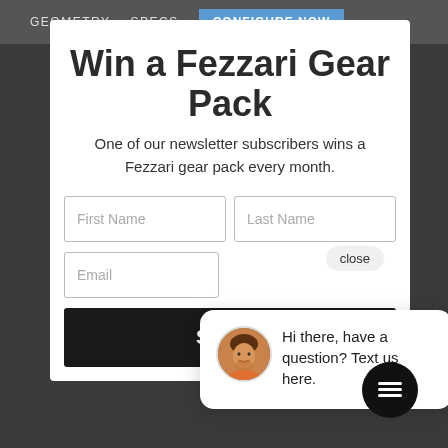GEOMETRY   SPECS   CONFIGURE NOW
Win a Fezzari Gear Pack
One of our newsletter subscribers wins a Fezzari gear pack every month.
First Name
Last Name
close
Email
Hi there, have a question? Text us here.
Submit